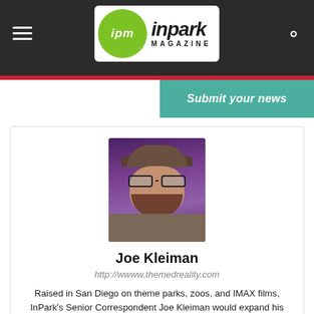InPark Magazine
[Figure (photo): Profile photo of Joe Kleiman wearing a cap and glasses, purple/dark background]
Joe Kleiman
http://wwww.themedreality.com
Raised in San Diego on theme parks, zoos, and IMAX films, InPark's Senior Correspondent Joe Kleiman would expand his childhood loves into two decades as a projectionist and theater director within the giant screen industry. In addition to his work in commercial and museum operations, Joe has volunteered his time to animal husbandry at leading facilities in California and Texas and has played a leading management role for a number of performing arts companies. Joe previously served as News Editor and has remained a contributing author to InPark Magazine since